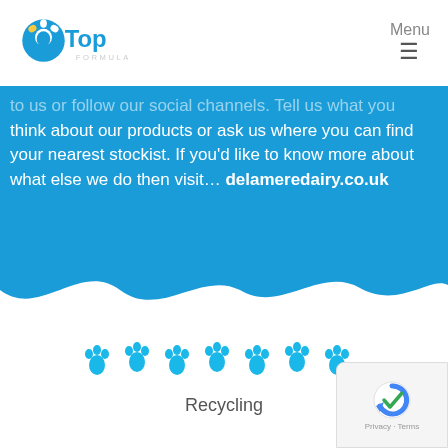[Figure (logo): TopLife Formula logo in white on blue background]
Menu ☰
to us or follow our social channels. Tell us what you think about our products or ask us where you can find your nearest stockist. If you'd like to know more about what else we do then visit... delameredairy.co.uk
[Figure (illustration): White wave divider between blue and white sections]
[Figure (illustration): Row of blue paw print icons]
Recycling
[Figure (other): Google reCAPTCHA / Privacy - Terms badge in bottom right corner]